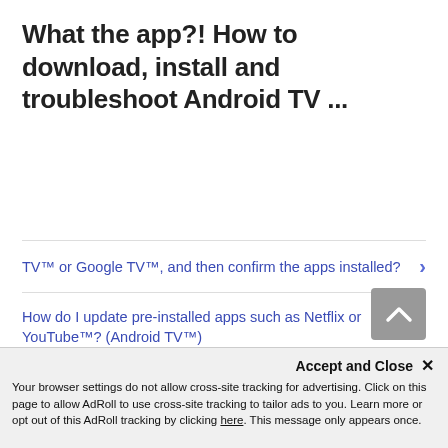What the app?! How to download, install and troubleshoot Android TV ...
TV™ or Google TV™, and then confirm the apps installed?
How do I update pre-installed apps such as Netflix or YouTube™? (Android TV™)
Can I purchase apps on Android TV through Google Play Store?
Accept and Close ✕
Your browser settings do not allow cross-site tracking for advertising. Click on this page to allow AdRoll to use cross-site tracking to tailor ads to you. Learn more or opt out of this AdRoll tracking by clicking here. This message only appears once.